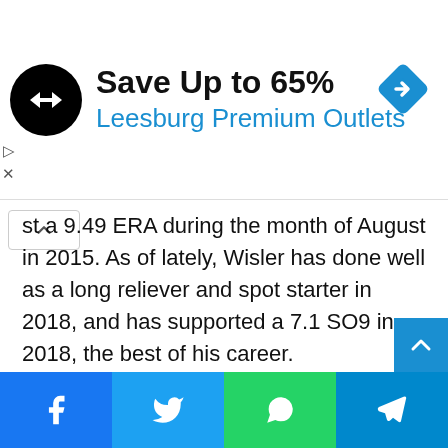[Figure (other): Advertisement banner: black circular logo with double arrow, text 'Save Up to 65%' in bold black and 'Leesburg Premium Outlets' in blue, blue diamond navigation icon top right, play and X icons on left edge]
...st a 9.49 ERA during the month of August in 2015. As of lately, Wisler has done well as a long reliever and spot starter in 2018, and has supported a 7.1 SO9 in 2018, the best of his career.
Tucker was acquired by the Braves in December of 2017 for cash considerations. At the time, he was merely seen as a placeholder until the Braves would eventually call up superstar
[Figure (other): Social sharing bar at bottom with four buttons: Facebook (blue), Twitter (light blue), WhatsApp (green), Telegram (dark blue)]